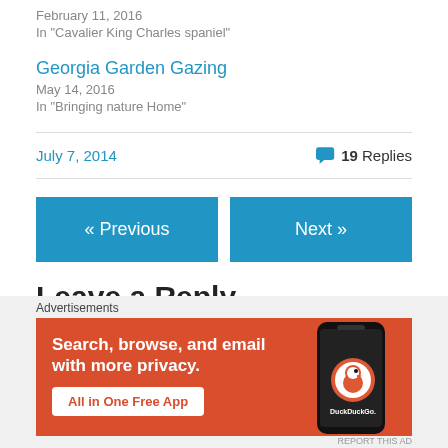February 11, 2016
In "Cavalier King Charles spaniel"
Georgia Garden Gazing
May 14, 2016
In "Bringing nature Home"
July 7, 2014
19 Replies
« Previous
Next »
Leave a Reply
Advertisements
[Figure (other): DuckDuckGo advertisement banner with orange background showing phone with DuckDuckGo app. Text: 'Search, browse, and email with more privacy. All in One Free App']